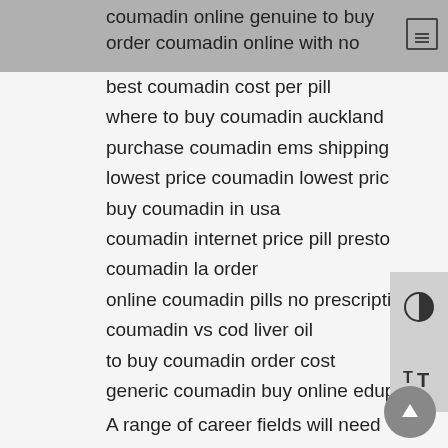coumadin online genuine to buy
order coumadin online with no
best coumadin cost per pill
where to buy coumadin auckland
purchase coumadin ems shipping
lowest price coumadin lowest price
buy coumadin in usa
coumadin internet price pill preston
coumadin la order
online coumadin pills no prescription
coumadin vs cod liver oil
to buy coumadin order cost
generic coumadin buy online edupi
A range of career fields will need employees to frequently express their thoughts and information through writing. Once an ideal spot is established, think away from box. As with lots of other careers, a pharmacy tech's geographic location can affect his or